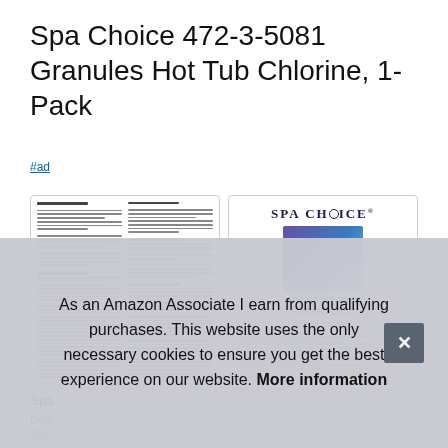Spa Choice 472-3-5081 Granules Hot Tub Chlorine, 1-Pack
#ad
[Figure (photo): Two thumbnail images: left shows a product instruction/label document page with two columns of small text; right shows Spa Choice branded product packaging for Spa Sanitizing Granules with a photo of people in a hot tub.]
Spa
Dow
Tec
Algae, Kills Bacteria, 56% available Chlorine
As an Amazon Associate I earn from qualifying purchases. This website uses the only necessary cookies to ensure you get the best experience on our website. More information